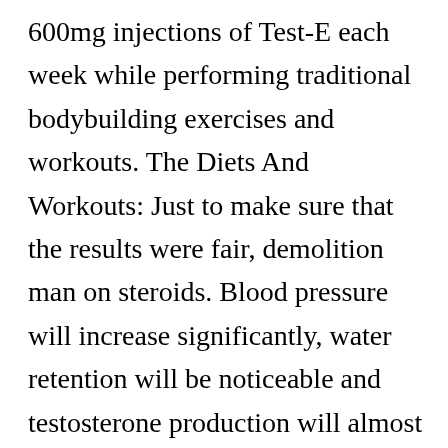600mg injections of Test-E each week while performing traditional bodybuilding exercises and workouts. The Diets And Workouts: Just to make sure that the results were fair, demolition man on steroids. Blood pressure will increase significantly, water retention will be noticeable and testosterone production will almost certainly be shut down, demolition man on steroids. Liver toxicity also remains a concern with the presence of Anadrol, and gynecomastia is very likely in